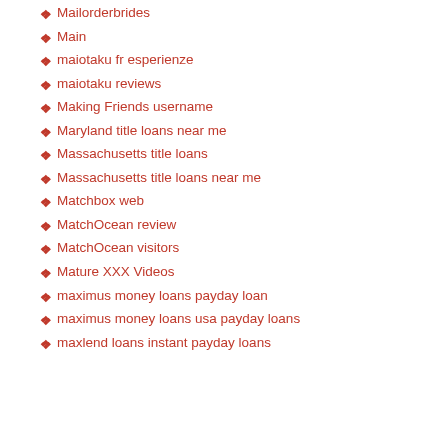Mailorderbrides
Main
maiotaku fr esperienze
maiotaku reviews
Making Friends username
Maryland title loans near me
Massachusetts title loans
Massachusetts title loans near me
Matchbox web
MatchOcean review
MatchOcean visitors
Mature XXX Videos
maximus money loans payday loan
maximus money loans usa payday loans
maxlend loans instant payday loans